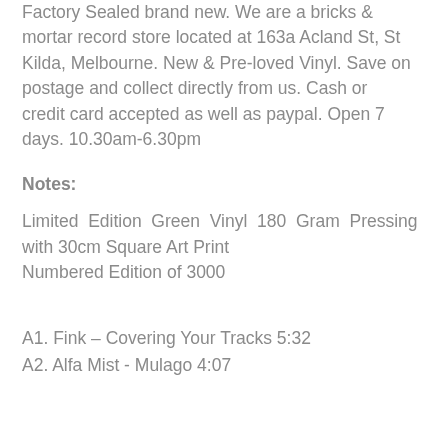Factory Sealed brand new. We are a bricks & mortar record store located at 163a Acland St, St Kilda, Melbourne. New & Pre-loved Vinyl. Save on postage and collect directly from us. Cash or credit card accepted as well as paypal. Open 7 days. 10.30am-6.30pm
Notes:
Limited Edition Green Vinyl 180 Gram Pressing with 30cm Square Art Print
Numbered Edition of 3000
A1. Fink – Covering Your Tracks 5:32
A2. Alfa Mist - Mulago 4:07